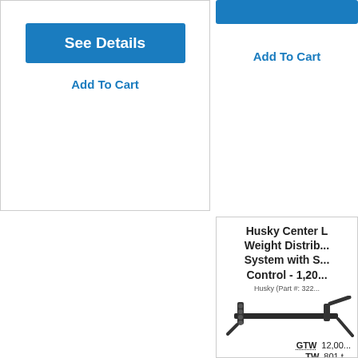[Figure (screenshot): Blue 'See Details' button on left product card]
Add To Cart
Add To Cart
Husky Center L... Weight Distrib... System with S... Control - 1,20...
Husky (Part #: 322...
[Figure (photo): Weight distribution hitch hardware shown in dark metal]
GTW 12,00...
TW 801 t...